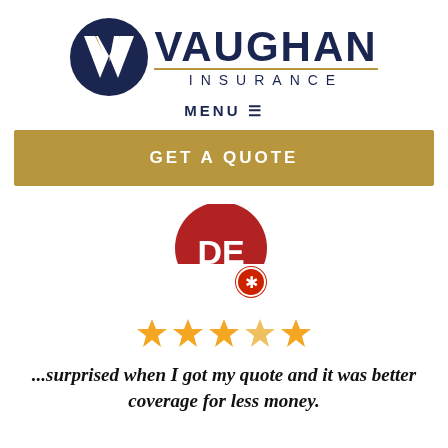[Figure (logo): Vaughan Insurance logo with navy circle containing a V shape with gold accent, and company name VAUGHAN INSURANCE in navy text with gold underline]
MENU ≡
GET A QUOTE
[Figure (logo): Yelp reviewer avatar: red half-circle badge with white letters DE and small Yelp burst icon badge]
[Figure (other): Five gold star rating icons]
...surprised when I got my quote and it was better coverage for less money.